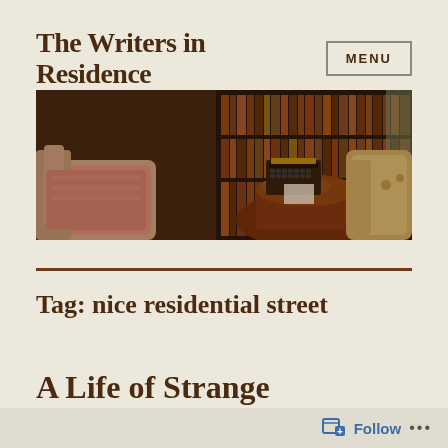The Writers in Residence
[Figure (photo): Interior of a study with armchairs, a vintage typewriter on a round table, and tall dark wooden bookshelves filled with books in the background.]
Tag: nice residential street
A Life of Strange
Follow ...